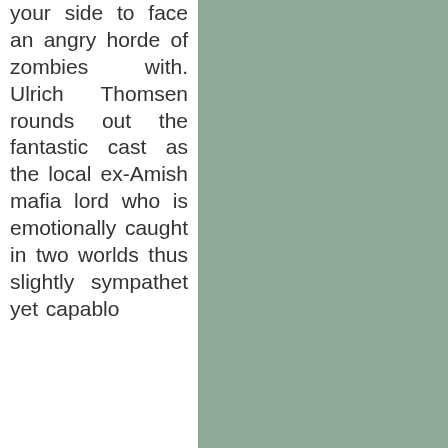your side to face an angry horde of zombies with. Ulrich Thomsen rounds out the fantastic cast as the local ex-Amish mafia lord who is emotionally caught in two worlds thus slightly sympathet yet capable